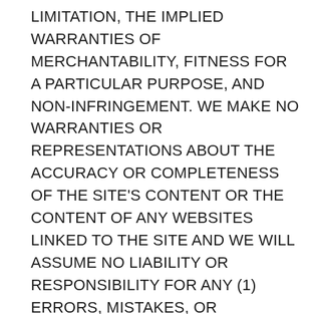LIMITATION, THE IMPLIED WARRANTIES OF MERCHANTABILITY, FITNESS FOR A PARTICULAR PURPOSE, AND NON-INFRINGEMENT. WE MAKE NO WARRANTIES OR REPRESENTATIONS ABOUT THE ACCURACY OR COMPLETENESS OF THE SITE'S CONTENT OR THE CONTENT OF ANY WEBSITES LINKED TO THE SITE AND WE WILL ASSUME NO LIABILITY OR RESPONSIBILITY FOR ANY (1) ERRORS, MISTAKES, OR INACCURACIES OF CONTENT AND MATERIALS, (2) PERSONAL INJURY OR PROPERTY DAMAGE, OF ANY NATURE WHATSOEVER, RESULTING FROM YOUR ACCESS TO AND USE OF THE SITE, (3) ANY UNAUTHORIZED ACCESS TO OR USE OF OUR SECURE SERVERS AND/OR ANY AND ALL PERSONAL INFORMATION